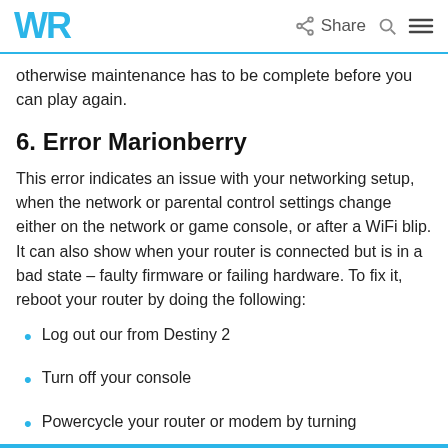WR  Share  🔍  ≡
otherwise maintenance has to be complete before you can play again.
6. Error Marionberry
This error indicates an issue with your networking setup, when the network or parental control settings change either on the network or game console, or after a WiFi blip. It can also show when your router is connected but is in a bad state – faulty firmware or failing hardware. To fix it, reboot your router by doing the following:
Log out our from Destiny 2
Turn off your console
Powercycle your router or modem by turning